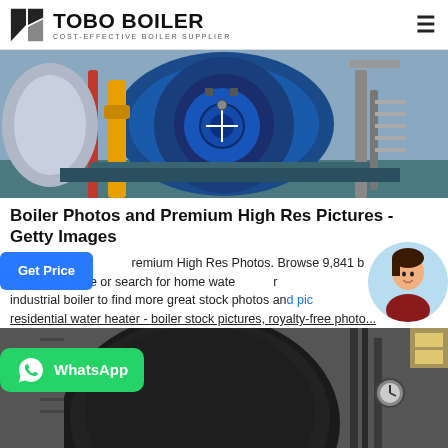TOBO BOILER — COST-EFFECTIVE BOILER SUPPLIER
[Figure (photo): Industrial boiler room with large blue cylindrical boiler, yellow pipes and blue frame structure]
Boiler Photos and Premium High Res Pictures - Getty Images
Premium High Res Photos. Browse 9,841 boiler stock images available or search for home water heater or industrial boiler to find more great stock photos and pictures. residential water heater - boiler stock pictures, royalty-free photo...
[Figure (photo): Industrial boiler equipment viewed from below, dark metallic machinery with gauges]